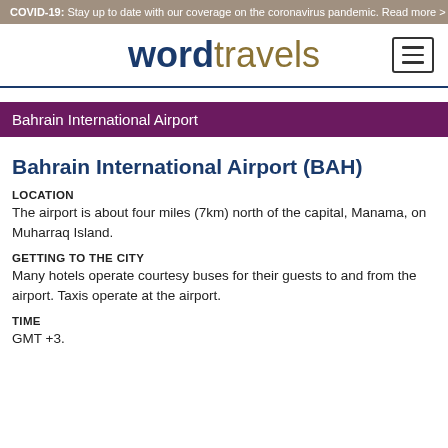COVID-19: Stay up to date with our coverage on the coronavirus pandemic. Read more >
wordtravels
Bahrain International Airport
Bahrain International Airport (BAH)
LOCATION
The airport is about four miles (7km) north of the capital, Manama, on Muharraq Island.
GETTING TO THE CITY
Many hotels operate courtesy buses for their guests to and from the airport. Taxis operate at the airport.
TIME
GMT +3.